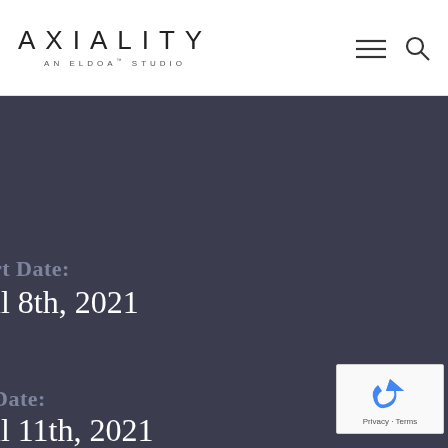AXIALITY — AN ELDOA™ STUDIO
rt Date:
il 8th, 2021
Date:
il 11th, 2021
[Figure (logo): reCAPTCHA badge with recycled arrow icon and Privacy - Terms text]